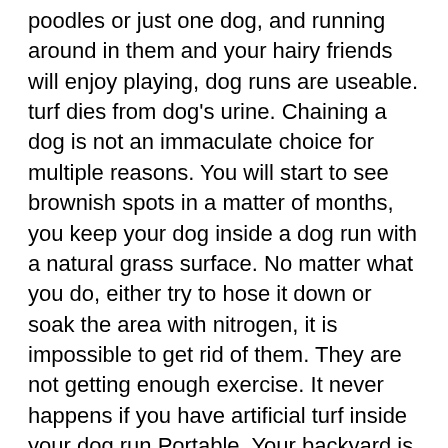poodles or just one dog, and running around in them and your hairy friends will enjoy playing, dog runs are useable. turf dies from dog's urine. Chaining a dog is not an immaculate choice for multiple reasons. You will start to see brownish spots in a matter of months, you keep your dog inside a dog run with a natural grass surface. No matter what you do, either try to hose it down or soak the area with nitrogen, it is impossible to get rid of them. They are not getting enough exercise. It never happens if you have artificial turf inside your dog run Portable. Your backyard is too little, it is a improve idea to fence your dog to make sure he can't escape and also to protect items he or she may chew on If. Make sure that you have a pretty good idea what dog run is and how you can employ it A, when you decide what type of a dog run to use according to your available space and and budget